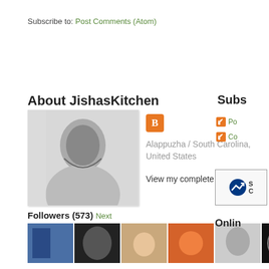Subscribe to: Post Comments (Atom)
About JishasKitchen
[Figure (photo): Black and white profile photo of a woman smiling]
Alappuzha / South Carolina, United States
View my complete profile
Followers (573) Next
[Figure (photo): Grid of follower profile thumbnails, 3 rows of up to 9 small photos each]
Subs
Po
Co
[Figure (logo): StatCounter logo badge]
Onlin